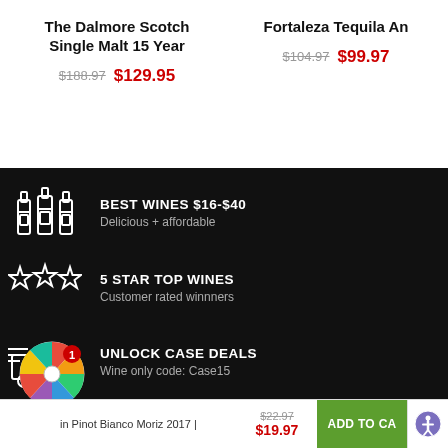The Dalmore Scotch Single Malt 15 Year
$188.97  $129.95
Fortaleza Tequila Añejo
$104.97  $99.97
BEST WINES $16-$40
Delicious + affordable
5 STAR TOP WINES
Customer rated winnners
UNLOCK CASE DEALS
Wine only code: Case15
in Pinot Bianco Moriz 2017 |
$22.97  $19.97
ADD TO CART